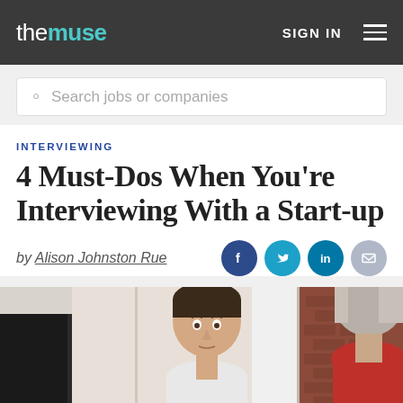the muse | SIGN IN
Search jobs or companies
INTERVIEWING
4 Must-Dos When You're Interviewing With a Start-up
by Alison Johnston Rue
[Figure (photo): Two men in a casual office environment having a conversation; one young man facing the camera, another man with grey hair seen from behind wearing a red shirt, brick wall in background.]